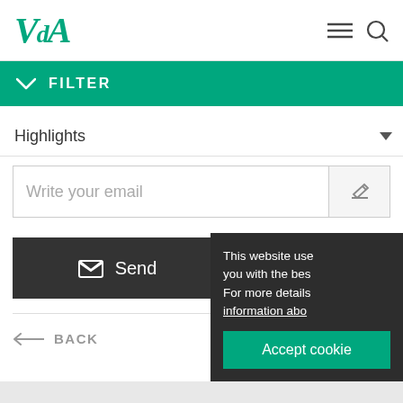V&A logo with hamburger menu and search icon
FILTER
Highlights
Write your email
Send
Share
← BACK
This website use you with the bes For more details information abo
Accept cookie